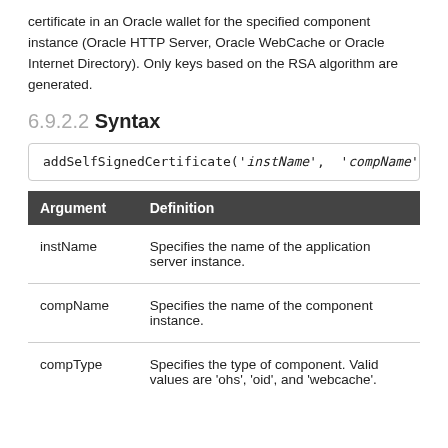certificate in an Oracle wallet for the specified component instance (Oracle HTTP Server, Oracle WebCache or Oracle Internet Directory). Only keys based on the RSA algorithm are generated.
6.9.2.2 Syntax
| Argument | Definition |
| --- | --- |
| instName | Specifies the name of the application server instance. |
| compName | Specifies the name of the component instance. |
| compType | Specifies the type of component. Valid values are 'ohs', 'oid', and 'webcache'. |